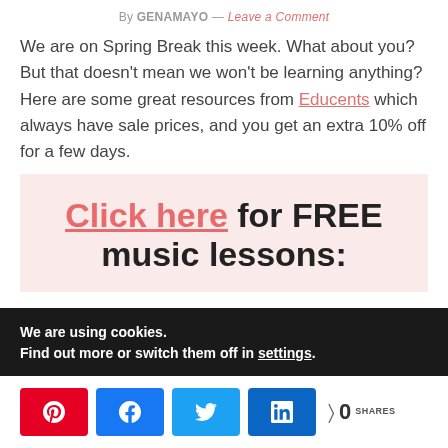By GENAMAYO — Leave a Comment
We are on Spring Break this week. What about you? But that doesn't mean we won't be learning anything? Here are some great resources from Educents which always have sale prices, and you get an extra 10% off for a few days.
[Figure (infographic): Pink/light-red background promotional box with text: 'Click here for FREE music lessons:']
We are using cookies. Find out more or switch them off in settings.
Social share buttons: Pinterest, Facebook, Twitter, LinkedIn. 0 SHARES